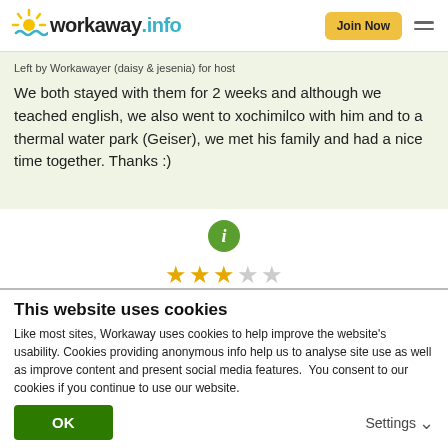[Figure (logo): Workaway.info logo with sun graphic]
Left by Workawayer (daisy & jesenia) for host
We both stayed with them for 2 weeks and although we teached english, we also went to xochimilco with him and to a thermal water park (Geiser), we met his family and had a nice time together. Thanks :)
[Figure (infographic): Green info icon circle with letter i]
3 out of 5 stars rating
(Good)
This website uses cookies
Like most sites, Workaway uses cookies to help improve the website's usability. Cookies providing anonymous info help us to analyse site use as well as improve content and present social media features.  You consent to our cookies if you continue to use our website.
OK
Settings